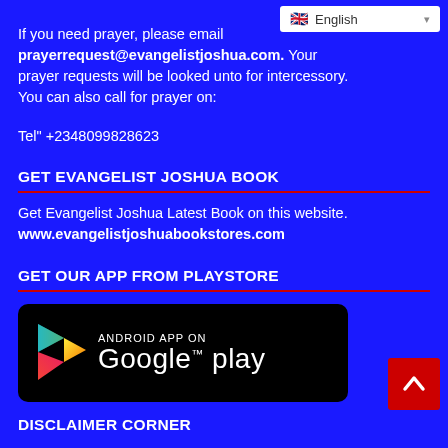[Figure (screenshot): Language selector dropdown showing English with UK flag]
If you need prayer, please email prayerrequest@evangelistjoshua.com. Your prayer requests will be looked unto for intercessory. You can also call for prayer on:
Tel" +2348099828623
GET EVANGELIST JOSHUA BOOK
Get Evangelist Joshua Latest Book on this website. www.evangelistjoshuabookstores.com
GET OUR APP FROM PLAYSTORE
[Figure (screenshot): Google Play Store badge - Android App on Google play]
DISCLAIMER CORNER